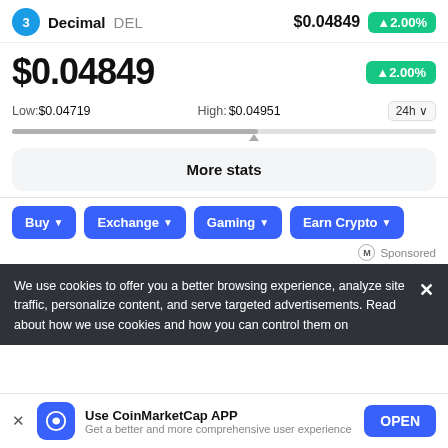Decimal DEL   $0.04849   ▲2.00%
$0.04849   ▲2.00%
Low:$0.04719   High:$0.04951   24h
More stats
Buy ▼   Exchange ▼   Gaming ▼   Earn Crypto ▼
Sponsored
We use cookies to offer you a better browsing experience, analyze site traffic, personalize content, and serve targeted advertisements. Read about how we use cookies and how you can control them on
Use CoinMarketCap APP   Get a better and more comprehensive user experience   OPEN